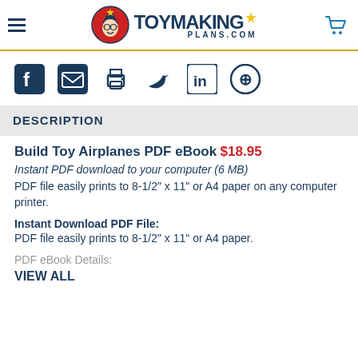ToyMakingPlans.com
[Figure (infographic): Social sharing icons row: Facebook, Email, Print, Twitter, LinkedIn, Pinterest]
DESCRIPTION
Build Toy Airplanes PDF eBook $18.95
Instant PDF download to your computer (6 MB)
PDF file easily prints to 8-1/2" x 11" or A4 paper on any computer printer.
Instant Download PDF File: PDF file easily prints to 8-1/2" x 11" or A4 paper.
PDF eBook Details:
VIEW ALL